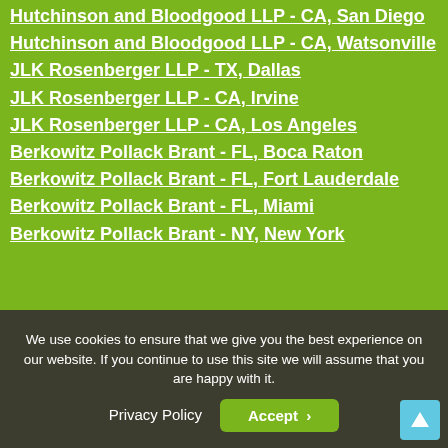Hutchinson and Bloodgood LLP - CA, San Diego
Hutchinson and Bloodgood LLP - CA, Watsonville
JLK Rosenberger LLP - TX, Dallas
JLK Rosenberger LLP - CA, Irvine
JLK Rosenberger LLP - CA, Los Angeles
Berkowitz Pollack Brant - FL, Boca Raton
Berkowitz Pollack Brant - FL, Fort Lauderdale
Berkowitz Pollack Brant - FL, Miami
Berkowitz Pollack Brant - NY, New York
We use cookies to ensure that we give you the best experience on our website. If you continue to use this site we will assume that you are happy with it.
Privacy Policy
Accept